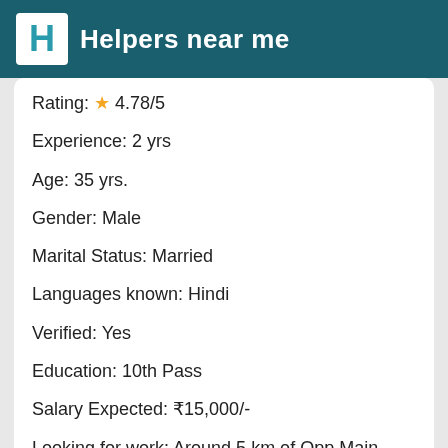Helpers near me
Rating: ★ 4.78/5
Experience: 2 yrs
Age: 35 yrs.
Gender: Male
Marital Status: Married
Languages known: Hindi
Verified: Yes
Education: 10th Pass
Salary Expected: ₹15,000/-
Looking for work: Around 5 km of Opp Main Red Light Mahipalpur Extn Nh 8, New Delhi
Prefer to work: Day shift
Find & Hire now →